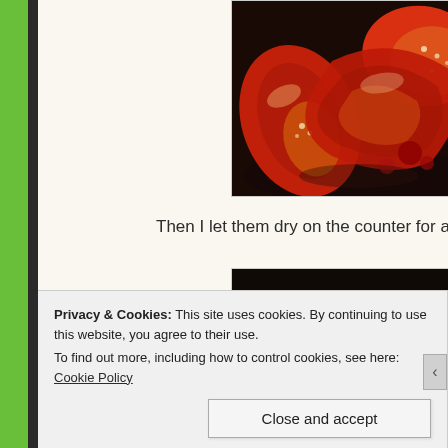[Figure (photo): Close-up photo of sliced red bell peppers on a dark plate, showing seeds and orange inner flesh]
Then I let them dry on the counter for about an hour so
[Figure (photo): Photo of yellow and red peppers laid out on a baking tray or drying surface, possibly in an oven or dehydrator]
Privacy & Cookies: This site uses cookies. By continuing to use this website, you agree to their use. To find out more, including how to control cookies, see here: Cookie Policy
Close and accept